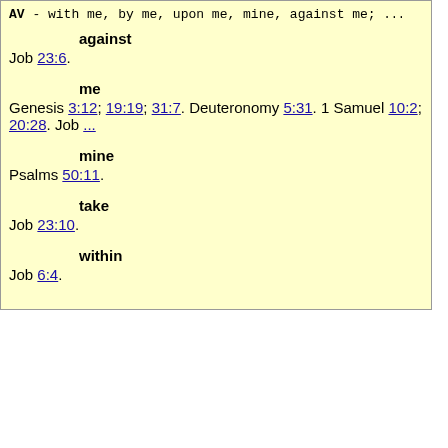AV - with me, by me, upon me, mine, against me;
against
Job 23:6.
me
Genesis 3:12; 19:19; 31:7. Deuteronomy 5:31. 1 Samuel 10:2; 20:28. Job ...
mine
Psalms 50:11.
take
Job 23:10.
within
Job 6:4.
—Exhaustive Concordance (KJV Translation B
» H5979 «